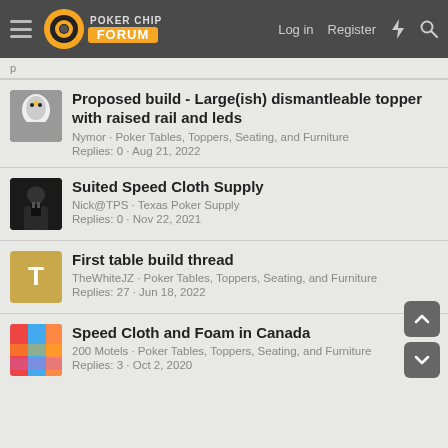Poker Chip Forum — Log in · Register
Proposed build - Large(ish) dismantleable topper with raised rail and leds
Nymor · Poker Tables, Toppers, Seating, and Furniture
Replies: 0 · Aug 21, 2022
Suited Speed Cloth Supply
Nick@TPS · Texas Poker Supply
Replies: 0 · Nov 22, 2021
First table build thread
TheWhiteJZ · Poker Tables, Toppers, Seating, and Furniture
Replies: 27 · Jun 18, 2022
Speed Cloth and Foam in Canada
200 Motels · Poker Tables, Toppers, Seating, and Furniture
Replies: 3 · Oct 2, 2020